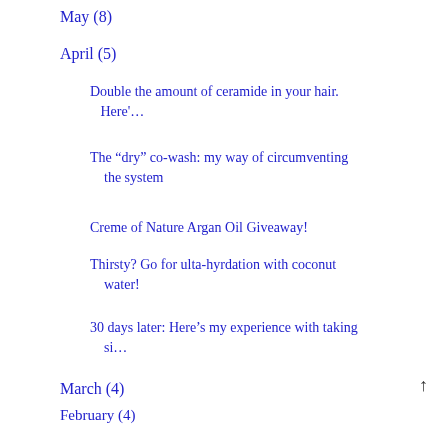May (8)
April (5)
Double the amount of ceramide in your hair. Here'…
The "dry" co-wash: my way of circumventing the system
Creme of Nature Argan Oil Giveaway!
Thirsty? Go for ulta-hyrdation with coconut water!
30 days later: Here's my experience with taking si…
March (4)
February (4)
January (4)
2010 (55)